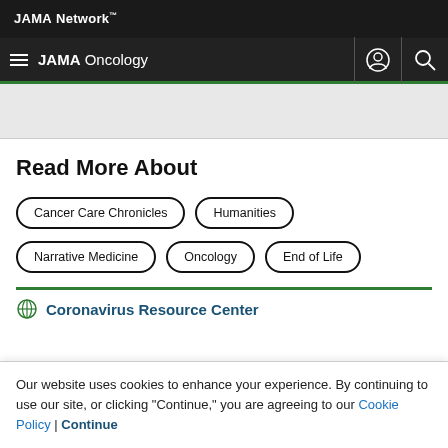JAMA Network
JAMA Oncology
[Figure (illustration): Decorative banner with repeating droplet/teardrop pattern in light grey]
Read More About
Cancer Care Chronicles
Humanities
Narrative Medicine
Oncology
End of Life
Coronavirus Resource Center
Our website uses cookies to enhance your experience. By continuing to use our site, or clicking "Continue," you are agreeing to our Cookie Policy | Continue